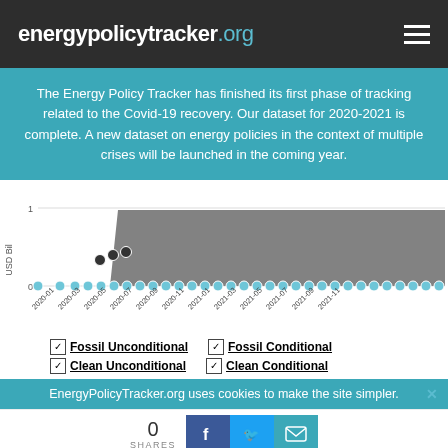energypolicytracker.org
The Energy Policy Tracker has finished its first phase of tracking related to the Covid-19 recovery. Our dataset for 2020-2021 is complete. A new dataset on energy policies in the context of multiple crises will be launched in the coming year.
[Figure (area-chart): Area chart showing Fossil Unconditional spending (dark gray filled area) rising sharply around 2020-06 to ~1 USD billion and staying elevated. Clean/Fossil Conditional spending shown as light blue dots near 0. X-axis shows months from 2020-01 to 2021-11.]
☑ Fossil Unconditional   ☑ Fossil Conditional
☑ Clean Unconditional   ☑ Clean Conditional
EnergyPolicyTracker.org uses cookies to make the site simpler.
0 SHARES